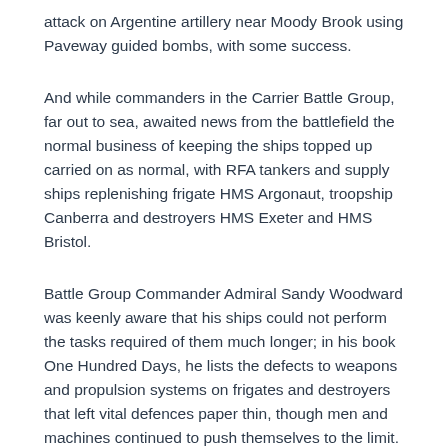attack on Argentine artillery near Moody Brook using Paveway guided bombs, with some success.
And while commanders in the Carrier Battle Group, far out to sea, awaited news from the battlefield the normal business of keeping the ships topped up carried on as normal, with RFA tankers and supply ships replenishing frigate HMS Argonaut, troopship Canberra and destroyers HMS Exeter and HMS Bristol.
Battle Group Commander Admiral Sandy Woodward was keenly aware that his ships could not perform the tasks required of them much longer; in his book One Hundred Days, he lists the defects to weapons and propulsion systems on frigates and destroyers that left vital defences paper thin, though men and machines continued to push themselves to the limit.